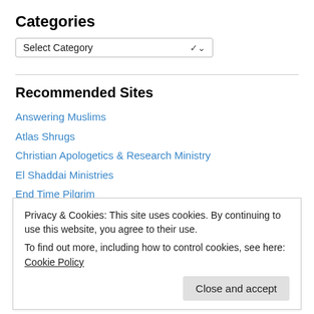Categories
[Figure (screenshot): Select Category dropdown widget]
Recommended Sites
Answering Muslims
Atlas Shrugs
Christian Apologetics & Research Ministry
El Shaddai Ministries
End Time Pilgrim
God and Science.org
International House of Prayer
Privacy & Cookies: This site uses cookies. By continuing to use this website, you agree to their use. To find out more, including how to control cookies, see here: Cookie Policy
The Qur'an Dilemma